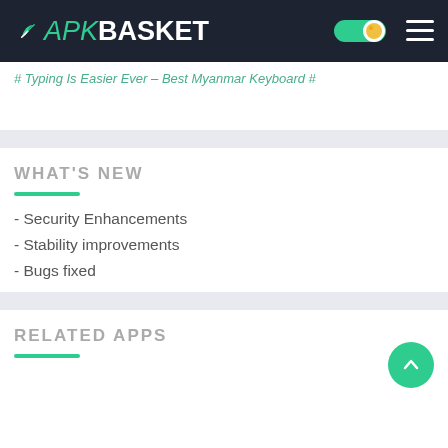APK BASKET
# Typing Is Easier Ever – Best Myanmar Keyboard #
WHAT'S NEW
- Security Enhancements
- Stability improvements
- Bugs fixed
RELATED APPS